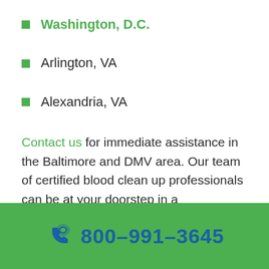Washington, D.C.
Arlington, VA
Alexandria, VA
Contact us for immediate assistance in the Baltimore and DMV area. Our team of certified blood clean up professionals can be at your doorstep in a
800-991-3645